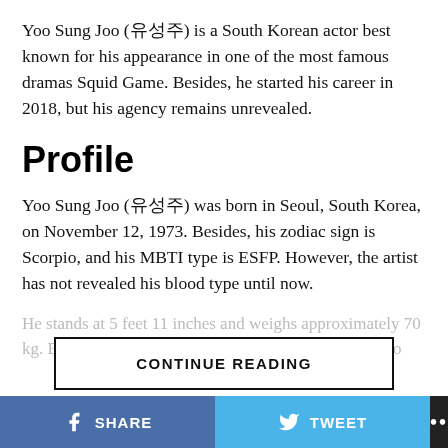Yoo Sung Joo (유성주) is a South Korean actor best known for his appearance in one of the most famous dramas Squid Game. Besides, he started his career in 2018, but his agency remains unrevealed.
Profile
Yoo Sung Joo (유성주) was born in Seoul, South Korea, on November 12, 1973. Besides, his zodiac sign is Scorpio, and his MBTI type is ESFP. However, the artist has not revealed his blood type until now.
He stands at 5 feet 11 inches and weighs approximately 70 kg. Besides, he has black eyes, and his hair color is also
CONTINUE READING
SHARE   TWEET   ...